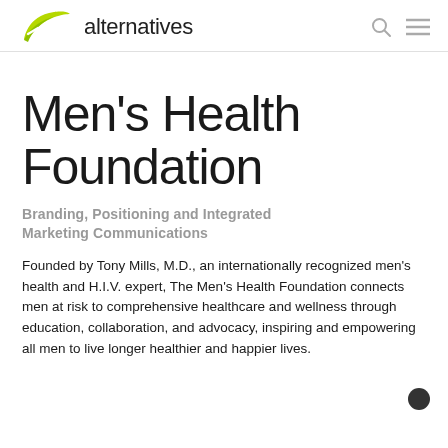alternatives
Men's Health Foundation
Branding, Positioning and Integrated Marketing Communications
Founded by Tony Mills, M.D., an internationally recognized men's health and H.I.V. expert, The Men's Health Foundation connects men at risk to comprehensive healthcare and wellness through education, collaboration, and advocacy, inspiring and empowering all men to live longer healthier and happier lives.